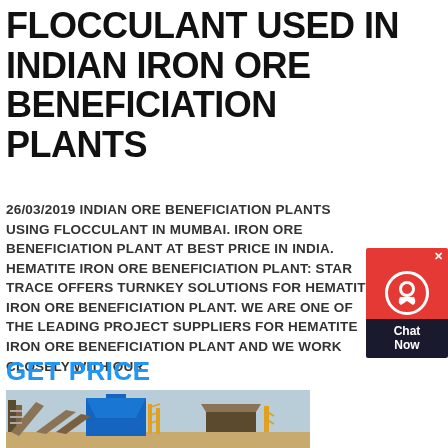FLOCCULANT USED IN INDIAN IRON ORE BENEFICIATION PLANTS
26/03/2019 INDIAN ORE BENEFICIATION PLANTS USING FLOCCULANT IN MUMBAI. IRON ORE BENEFICIATION PLANT AT BEST PRICE IN INDIA. HEMATITE IRON ORE BENEFICIATION PLANT: STAR TRACE OFFERS TURNKEY SOLUTIONS FOR HEMATITE IRON ORE BENEFICIATION PLANT. WE ARE ONE OF THE LEADING PROJECT SUPPLIERS FOR HEMATITE IRON ORE BENEFICIATION PLANT AND WE WORK CLOSELY WITH OUR
GET PRICE
[Figure (photo): Industrial iron ore beneficiation plant with blue metallic structures, conveyor frames, and scaffolding against a light sky background.]